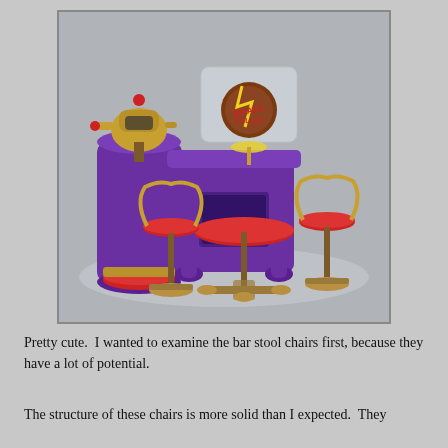[Figure (photo): Photograph of Bratz Dollz toy set including purple bar/DJ stand with Bratz logo, a tall purple cylindrical tower with robot-like machine on top, red-cushioned bar stool chairs with gold/bronze legs, and a round table, all set against a gray background.]
Pretty cute.  I wanted to examine the bar stool chairs first, because they have a lot of potential.
The structure of these chairs is more solid than I expected.  They